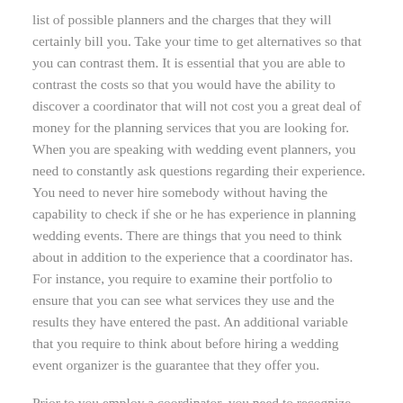list of possible planners and the charges that they will certainly bill you. Take your time to get alternatives so that you can contrast them. It is essential that you are able to contrast the costs so that you would have the ability to discover a coordinator that will not cost you a great deal of money for the planning services that you are looking for. When you are speaking with wedding event planners, you need to constantly ask questions regarding their experience. You need to never hire somebody without having the capability to check if she or he has experience in planning wedding events. There are things that you need to think about in addition to the experience that a coordinator has. For instance, you require to examine their portfolio to ensure that you can see what services they use and the results they have entered the past. An additional variable that you require to think about before hiring a wedding event organizer is the guarantee that they offer you.
Prior to you employ a coordinator, you need to recognize that they have an assurance for the service that they will certainly give to you. This indicates that if you are unsatisfied with their solutions after the planning process mores than, you don't need to stress over a thing. It is constantly much better to be safe than sorry. So prior to working with an organizer, ensure that they have an assurance